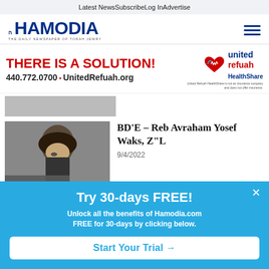Latest News  Subscribe  Log In  Advertise
[Figure (logo): Hamodia newspaper logo - 'HAMODIA THE DAILY NEWSPAPER OF TORAH JEWRY' in blue]
[Figure (infographic): United Refuah HealthShare advertisement: THERE IS A SOLUTION! 440.772.0700 • UnitedRefuah.org, with United Refuah HealthShare logo and disclaimer text]
[Figure (photo): Partial image strip above article thumbnail]
[Figure (photo): Photo of an elderly rabbi wearing a large fur hat and glasses]
BD'E – Reb Avraham Yosef Waks, Z"L
9/4/2022
Try 30-days FREE!
Unlock all the benefits of Hamodia.com FREE for 30-days by clicking below.
Start Your Trial →